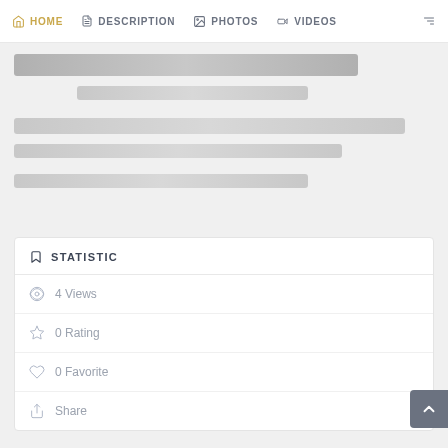HOME  DESCRIPTION  PHOTOS  VIDEOS
[Figure (screenshot): Blurred/skeleton loading placeholder content area with gray bars representing loading content]
STATISTIC
4 Views
0 Rating
0 Favorite
Share